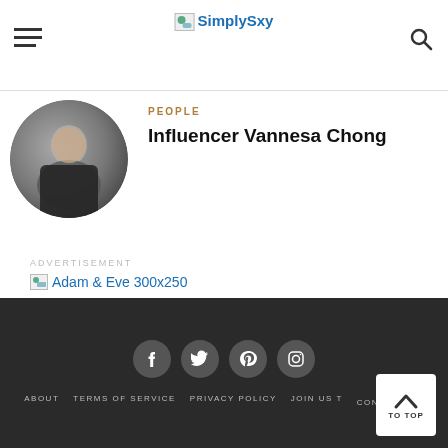SimplySxy
PEOPLE
Influencer Vannesa Chong
[Figure (photo): Circular profile photo of Influencer Vannesa Chong]
ADVERTISEMENT
[Figure (photo): Adam & Eve 300x250 advertisement image placeholder]
ABOUT  TERMS OF SERVICE  PRIVACY POLICY  JOIN US T  CONTRIBUTE